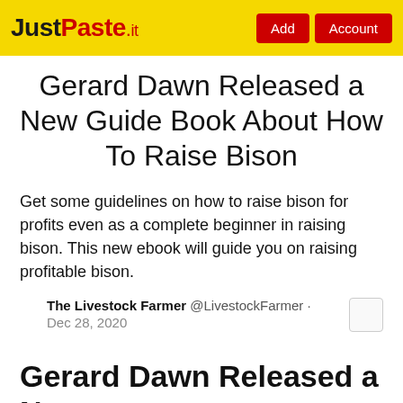JustPaste.it  Add  Account
Gerard Dawn Released a New Guide Book About How To Raise Bison
Get some guidelines on how to raise bison for profits even as a complete beginner in raising bison. This new ebook will guide you on raising profitable bison.
The Livestock Farmer @LivestockFarmer · Dec 28, 2020
Gerard Dawn Released a New